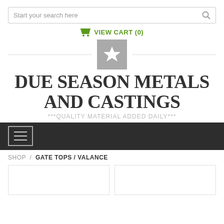Start your search here
VIEW CART (0)
[Figure (logo): Gray square badge with white star in center, flanked by horizontal lines on left and right]
DUE SEASON METALS AND CASTINGS
***QUALITY MATERIAL ADDED DAILY***
[Figure (screenshot): Dark navigation bar with hamburger menu icon (three horizontal lines) inside a bordered box]
SHOP / GATE TOPS / VALANCE